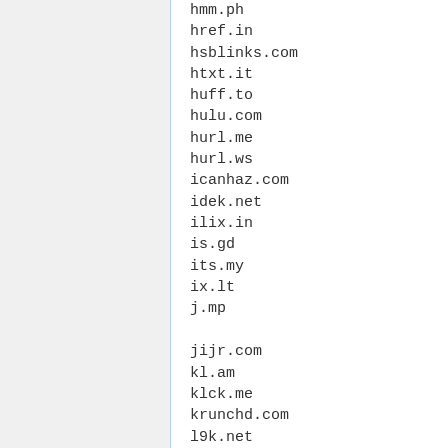hmm.ph
href.in
hsblinks.com
htxt.it
huff.to
hulu.com
hurl.me
hurl.ws
icanhaz.com
idek.net
ilix.in
is.gd
its.my
ix.lt
j.mp
jijr.com
kl.am
klck.me
krunchd.com
l9k.net
lat.ms
liip.to
liltext.com
linkbee.com